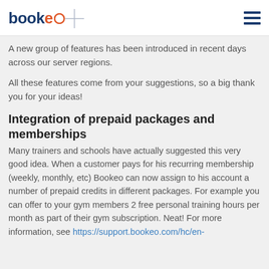bookeo [logo]
A new group of features has been introduced in recent days across our server regions.
All these features come from your suggestions, so a big thank you for your ideas!
Integration of prepaid packages and memberships
Many trainers and schools have actually suggested this very good idea. When a customer pays for his recurring membership (weekly, monthly, etc) Bookeo can now assign to his account a number of prepaid credits in different packages. For example you can offer to your gym members 2 free personal training hours per month as part of their gym subscription. Neat! For more information, see https://support.bookeo.com/hc/en-